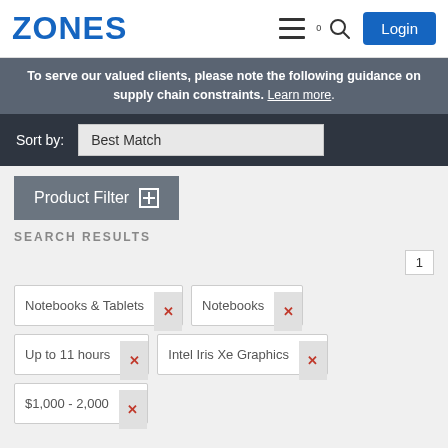ZONES - Login
To serve our valued clients, please note the following guidance on supply chain constraints. Learn more.
Sort by: Best Match
Product Filter
SEARCH RESULTS
1
Notebooks & Tablets ×
Notebooks ×
Up to 11 hours ×
Intel Iris Xe Graphics ×
$1,000 - 2,000 ×